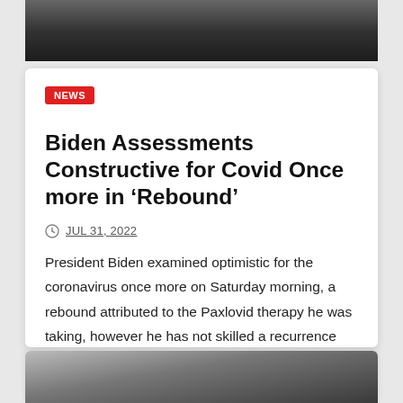[Figure (photo): Partial photo visible at top of first article card, dark background showing a person]
NEWS
Biden Assessments Constructive for Covid Once more in ‘Rebound’
JUL 31, 2022
President Biden examined optimistic for the coronavirus once more on Saturday morning, a rebound attributed to the Paxlovid therapy he was taking, however he has not skilled a recurrence of…
[Figure (photo): Partial photo visible at bottom, beginning of a second article card]